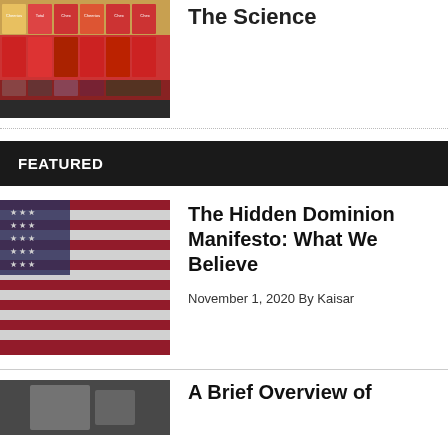[Figure (photo): Cereal boxes on store shelves]
The Science
[Figure (photo): American flag draped, close-up]
FEATURED
The Hidden Dominion Manifesto: What We Believe
November 1, 2020 By Kaisar
[Figure (photo): Partial image of person, bottom of page]
A Brief Overview of